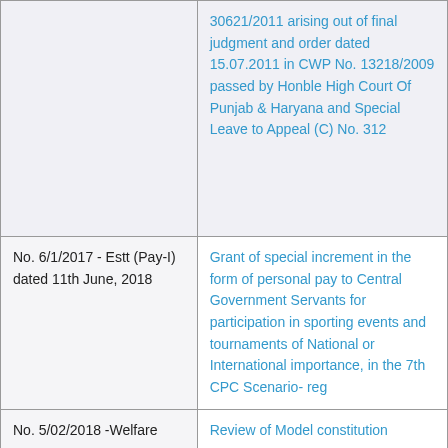| Office Memorandum / Order | Subject |
| --- | --- |
|  | 30621/2011 arising out of final judgment and order dated 15.07.2011 in CWP No. 13218/2009 passed by Honble High Court Of Punjab & Haryana and Special Leave to Appeal (C) No. 312 |
| No. 6/1/2017 - Estt (Pay-I) dated 11th June, 2018 | Grant of special increment in the form of personal pay to Central Government Servants for participation in sporting events and tournaments of National or International importance, in the 7th CPC Scenario- reg |
| No. 5/02/2018 -Welfare | Review of Model constitution |